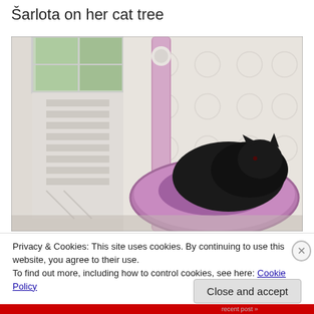Šarlota on her cat tree
[Figure (photo): A black cat curled up sleeping in a round pink/purple plush cat tree bed. The cat tree has a pink vertical post with a dangling toy. In the background is a white lace curtain and a white radiator/chair visible on the left side.]
Privacy & Cookies: This site uses cookies. By continuing to use this website, you agree to their use.
To find out more, including how to control cookies, see here: Cookie Policy